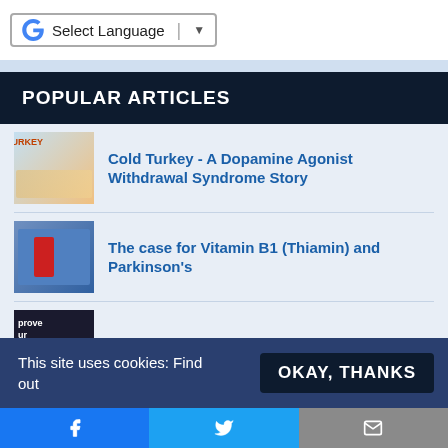Select Language
POPULAR ARTICLES
Cold Turkey - A Dopamine Agonist Withdrawal Syndrome Story
The case for Vitamin B1 (Thiamin) and Parkinson's
Balance Exercises for Parkinson's
Wearing a red light bucket hat on your head for Parkinson's
"My experience with Parkinson's was...
This site uses cookies: Find out
OKAY, THANKS